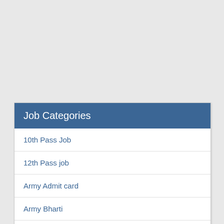Job Categories
10th Pass Job
12th Pass job
Army Admit card
Army Bharti
Army Relation Bharti
Army Results
Arunachal Pradesh Jobs
Assam Jobs
Bihar Jobs
Clerk Post
Goa Job